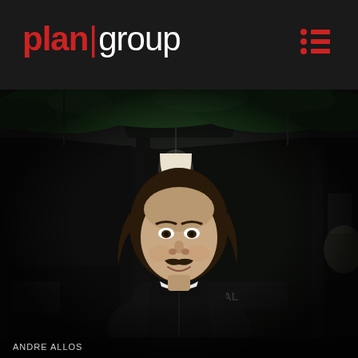[Figure (logo): Plan Group logo with red 'plan', red pipe '|', and white 'group' on dark header bar, with red bullet-list menu icon top right]
[Figure (photo): Portrait photo of a young man with shoulder-length dark curly hair and a mustache, wearing a black zip-up jacket, standing and smiling in front of a dark restaurant/bar exterior with hanging Edison-style light bulbs and green foliage overhead at night.]
ANDRE ALLOS